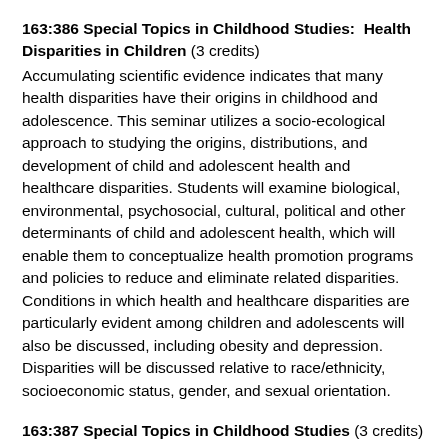163:386 Special Topics in Childhood Studies:  Health Disparities in Children (3 credits) Accumulating scientific evidence indicates that many health disparities have their origins in childhood and adolescence. This seminar utilizes a socio-ecological approach to studying the origins, distributions, and development of child and adolescent health and healthcare disparities. Students will examine biological, environmental, psychosocial, cultural, political and other determinants of child and adolescent health, which will enable them to conceptualize health promotion programs and policies to reduce and eliminate related disparities. Conditions in which health and healthcare disparities are particularly evident among children and adolescents will also be discussed, including obesity and depression. Disparities will be discussed relative to race/ethnicity, socioeconomic status, gender, and sexual orientation.
163:387 Special Topics in Childhood Studies (3 credits) This course provides an in-depth examination of a topic or theme related to the study of children and childhood.  Topics will